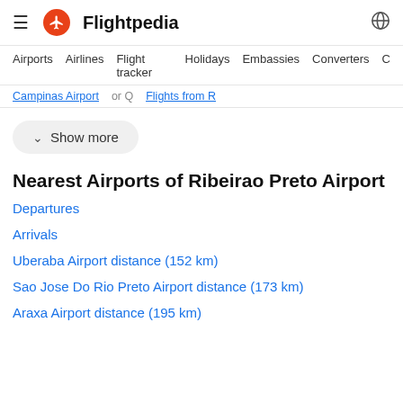Flightpedia
Airports  Airlines  Flight tracker  Holidays  Embassies  Converters
Campinas Airport  or Q  Flights from R
Show more
Nearest Airports of Ribeirao Preto Airport
Departures
Arrivals
Uberaba Airport distance (152 km)
Sao Jose Do Rio Preto Airport distance (173 km)
Araxa Airport distance (195 km)